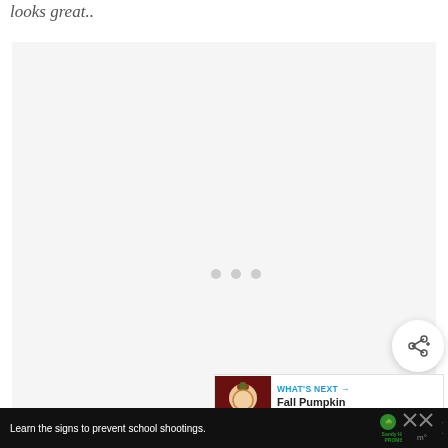looks great..
[Figure (other): Large light gray placeholder image area with three small gray dots in the center indicating loading state]
[Figure (other): Circular white share button with share/add icon]
[Figure (other): What's Next panel showing thumbnail of Fall Pumpkin Wreath article with small circular preview image]
[Figure (other): Advertisement bar at bottom: Sandy Hook Promise ad - Learn the signs to prevent school shootings, with close button and MW logo]